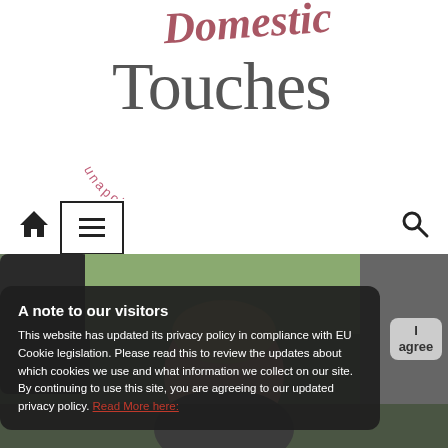[Figure (logo): Blog logo: stylized cursive text partially visible at top, large 'Touches' in gray serif, curved subtitle 'unapologetic.domestic diva' in mauve/rose color arranged in a circular arc below]
[Figure (screenshot): Navigation bar with house/home icon, hamburger menu button in a bordered box, and search magnifying glass icon on the right]
[Figure (photo): Photo of a young blond child in a car seat, smiling, taken from inside the car]
A note to our visitors
This website has updated its privacy policy in compliance with EU Cookie legislation. Please read this to review the updates about which cookies we use and what information we collect on our site. By continuing to use this site, you are agreeing to our updated privacy policy. Read More here: